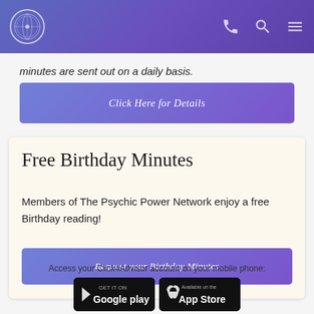Psychic Power Network header with logo and navigation icons
minutes are sent out on a daily basis.
Click Here for Details
Free Birthday Minutes
Members of The Psychic Power Network enjoy a free Birthday reading!
Request your Birthday Minutes
Access your Click4Advisor account on your mobile phone:
[Figure (logo): Google Play badge - Get it on Google play]
[Figure (logo): Apple App Store badge - Available on the App Store]